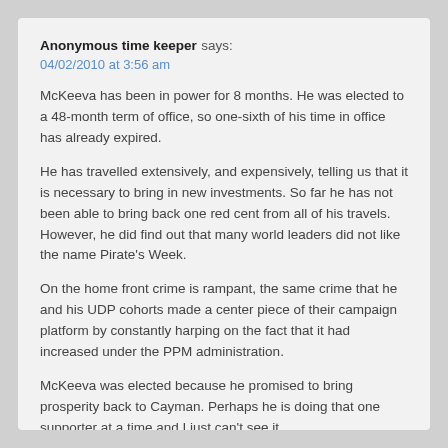Anonymous time keeper says:
04/02/2010 at 3:56 am
McKeeva has been in power for 8 months. He was elected to a 48-month term of office, so one-sixth of his time in office has already expired.
He has travelled extensively, and expensively, telling us that it is necessary to bring in new investments. So far he has not been able to bring back one red cent from all of his travels. However, he did find out that many world leaders did not like the name Pirate's Week.
On the home front crime is rampant, the same crime that he and his UDP cohorts made a center piece of their campaign platform by constantly harping on the fact that it had increased under the PPM administration.
McKeeva was elected because he promised to bring prosperity back to Cayman. Perhaps he is doing that one supporter at a time and I just can't see it.
If you are better off now than you were before the lastr election, please raise your hand.